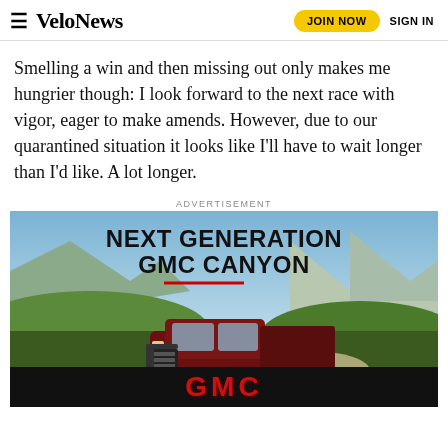VeloNews | JOIN NOW  SIGN IN
Smelling a win and then missing out only makes me hungrier though: I look forward to the next race with vigor, eager to make amends. However, due to our quarantined situation it looks like I’ll have to wait longer than I’d like. A lot longer.
ADVERTISEMENT
[Figure (photo): Advertisement for GMC Canyon truck: 'NEXT GENERATION GMC CANYON' with image of a dark red GMC Canyon AT4X pickup truck driving on a dirt road in a mountain meadow landscape. Bottom black bar shows 'GMC' logo in red letters. Footnote: 'Preproduction model shown. Actual production models may vary. Canyon initial availability early 2023. AT4X']